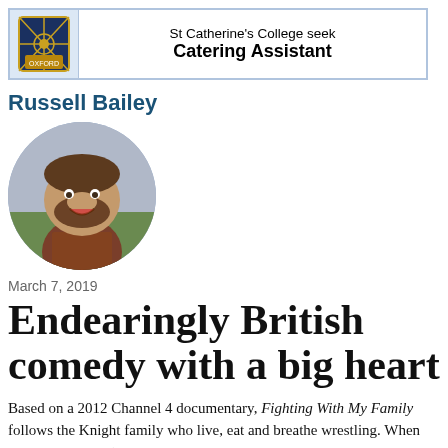[Figure (other): Advertisement banner for St Catherine's College seeking a Catering Assistant, with a college crest logo on the left and text on the right inside a blue-bordered box.]
Russell Bailey
[Figure (photo): Circular profile photo of Russell Bailey, a smiling man in a plaid shirt standing outdoors with a green field and grey sky in the background.]
March 7, 2019
Endearingly British comedy with a big heart
Based on a 2012 Channel 4 documentary, Fighting With My Family follows the Knight family who live, eat and breathe wrestling. When daughter Saraya (who takes the stage name